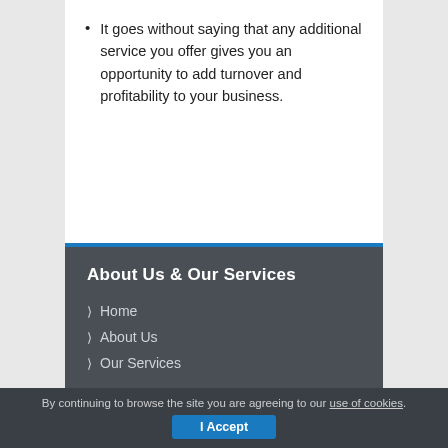It goes without saying that any additional service you offer gives you an opportunity to add turnover and profitability to your business.
About Us & Our Services
Home
About Us
Our Services
By continuing to browse the site you are agreeing to our use of cookies. I Accept